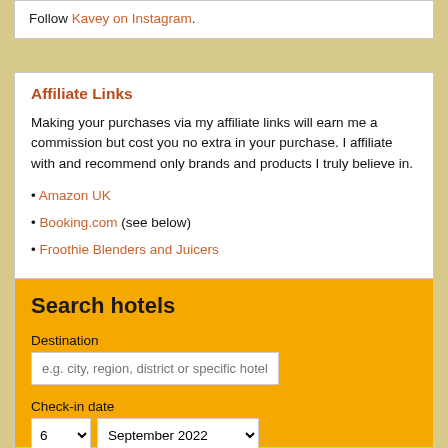Follow Kavey on Instagram.
Affiliate Links
Making your purchases via my affiliate links will earn me a commission but cost you no extra in your purchase. I affiliate with and recommend only brands and products I truly believe in.
Amazon UK
Booking.com (see below)
Froothie Blenders and Juicers
[Figure (screenshot): Search hotels widget with Destination field, Check-in date (6 September 2022), Check-out date (7 September 2022), and a Search button]